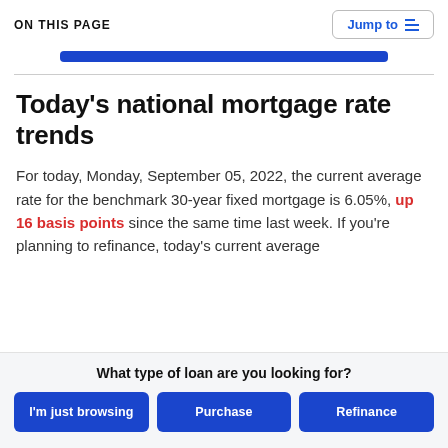ON THIS PAGE   Jump to
Today's national mortgage rate trends
For today, Monday, September 05, 2022, the current average rate for the benchmark 30-year fixed mortgage is 6.05%, up 16 basis points since the same time last week. If you're planning to refinance, today's current average
What type of loan are you looking for?
I'm just browsing
Purchase
Refinance